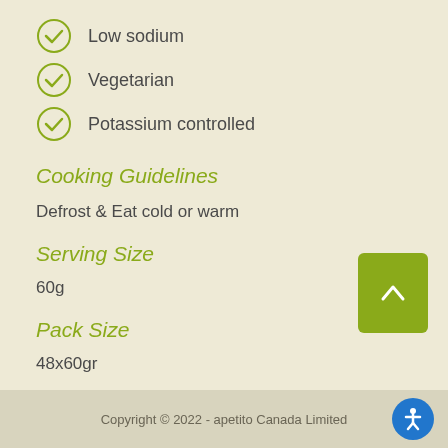Low sodium
Vegetarian
Potassium controlled
Cooking Guidelines
Defrost & Eat cold or warm
Serving Size
60g
Pack Size
48x60gr
Portions Per Case
Copyright © 2022 - apetito Canada Limited